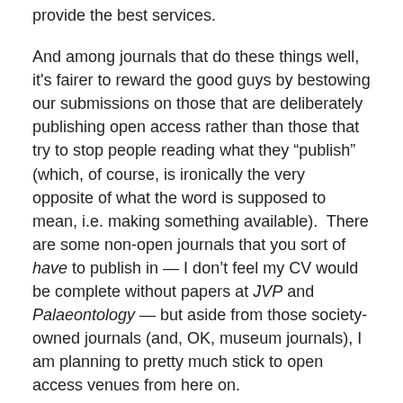provide the best services.
And among journals that do these things well, it's fairer to reward the good guys by bestowing our submissions on those that are deliberately publishing open access rather than those that try to stop people reading what they “publish” (which, of course, is ironically the very opposite of what the word is supposed to mean, i.e. making something available).  There are some non-open journals that you sort of have to publish in — I don’t feel my CV would be complete without papers at JVP and Palaeontology — but aside from those society-owned journals (and, OK, museum journals), I am planning to pretty much stick to open access venues from here on.
In Praise of Acta Pal. Pol.